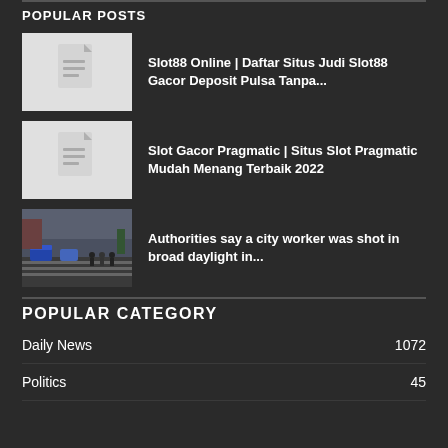POPULAR POSTS
[Figure (illustration): Document icon thumbnail placeholder (gray background with document lines icon)]
Slot88 Online | Daftar Situs Judi Slot88 Gacor Deposit Pulsa Tanpa...
[Figure (illustration): Document icon thumbnail placeholder (gray background with document lines icon)]
Slot Gacor Pragmatic | Situs Slot Pragmatic Mudah Menang Terbaik 2022
[Figure (photo): Street scene photo showing city workers, police cars, and people on a crosswalk in an urban setting]
Authorities say a city worker was shot in broad daylight in...
POPULAR CATEGORY
Daily News	1072
Politics	45